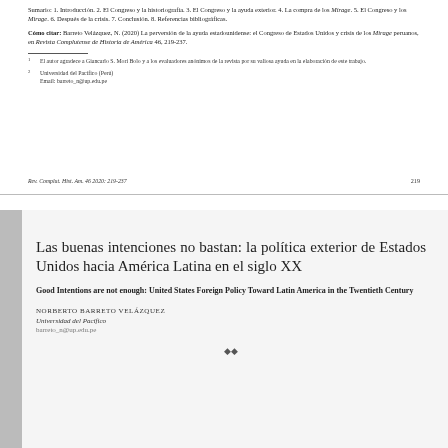Sumario: 1. Introducción. 2. El Congreso y la historiografía. 3. El Congreso y la ayuda exterior. 4. La compra de los Mirage. 5. El Congreso y los Mirage. 6. Después de la crisis. 7. Conclusión. 8. Referencias bibliográficas.
Cómo citar: Barreto Velázquez, N. (2020) La perversión de la ayuda estadounidense: el Congreso de Estados Unidos y crisis de los Mirage peruanos, en Revista Complutense de Historia de América 46, 219-237.
1 El autor agradece a Giancarlo S. Mori Bolo y a los evaluadores anónimos de la revista por su valiosa ayuda en la elaboración de este trabajo.
2 Universidad del Pacífico (Perú) Email: barreto_n@up.edu.pe
Rev. Complut. Hist. Am. 46 2020: 219-237    219
Las buenas intenciones no bastan: la política exterior de Estados Unidos hacia América Latina en el siglo XX
Good Intentions are not enough: United States Foreign Policy Toward Latin America in the Twentieth Century
NORBERTO BARRETO VELÁZQUEZ
Universidad del Pacífico
barreto_n@up.edu.pe